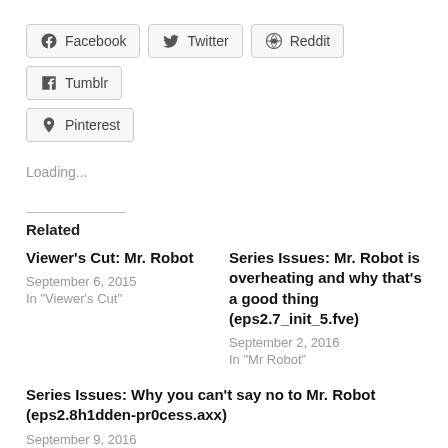Facebook
Twitter
Reddit
Tumblr
Pinterest
Loading...
Related
Viewer's Cut: Mr. Robot
September 6, 2015
In "Viewer's Cut"
Series Issues: Mr. Robot is overheating and why that’s a good thing (eps2.7_init_5.fve)
September 2, 2016
In "Mr Robot"
Series Issues: Why you can’t say no to Mr. Robot (eps2.8h1dden-pr0cess.axx)
September 9, 2016